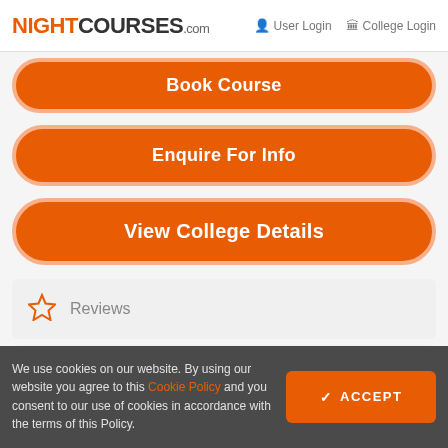NIGHTCOURSES.com  User Login  College Login
Book Course
Enquire For Info
View College Details
Reviews
We use cookies on our website. By using our website you agree to this Cookie Policy and you consent to our use of cookies in accordance with the terms of this Policy.
ACCEPT